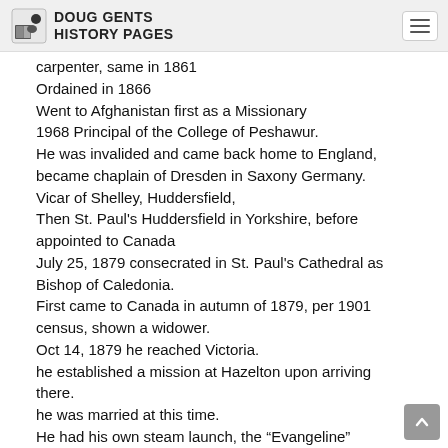Doug Gents History Pages
carpenter, same in 1861
Ordained in 1866
Went to Afghanistan first as a Missionary
1968 Principal of the College of Peshawur.
He was invalided and came back home to England, became chaplain of Dresden in Saxony Germany.
Vicar of Shelley, Huddersfield,
Then St. Paul's Huddersfield in Yorkshire, before appointed to Canada
July 25, 1879 consecrated in St. Paul's Cathedral as Bishop of Caledonia.
First came to Canada in autumn of 1879, per 1901 census, shown a widower.
Oct 14, 1879 he reached Victoria.
he established a mission at Hazelton upon arriving there.
he was married at this time.
He had his own steam launch, the “Evangeline”
Him and his wife were known for translating many books, and hymns into the Native Tsimshian